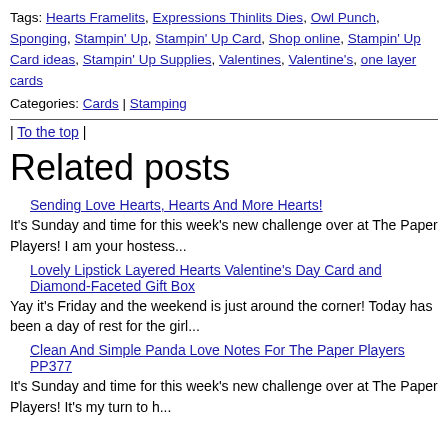Tags: Hearts Framelits, Expressions Thinlits Dies, Owl Punch, Sponging, Stampin' Up, Stampin' Up Card, Shop online, Stampin' Up Card ideas, Stampin' Up Supplies, Valentines, Valentine's, one layer cards
Categories: Cards | Stamping
| To the top |
Related posts
Sending Love Hearts, Hearts And More Hearts!
It's Sunday and time for this week's new challenge over at The Paper Players! I am your hostess...
Lovely Lipstick Layered Hearts Valentine's Day Card and Diamond-Faceted Gift Box
Yay it's Friday and the weekend is just around the corner! Today has been a day of rest for the girl...
Clean And Simple Panda Love Notes For The Paper Players PP377
It's Sunday and time for this week's new challenge over at The Paper Players! It's my turn to h...